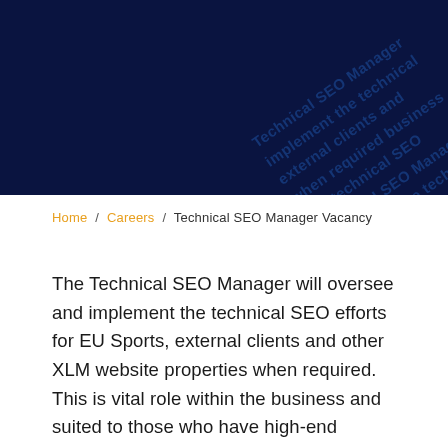[Figure (other): Dark navy blue header banner with diagonal watermark text repeating phrases like 'Technical SEO Manager', 'implement the technical', 'external clients and', 'when required', 'business and technical' in a darker blue overlay pattern]
Home / Careers / Technical SEO Manager Vacancy
The Technical SEO Manager will oversee and implement the technical SEO efforts for EU Sports, external clients and other XLM website properties when required. This is vital role within the business and suited to those who have high-end technical SEO skills alongside an inbuilt desire to advance their SEO knowledge on a daily basis.